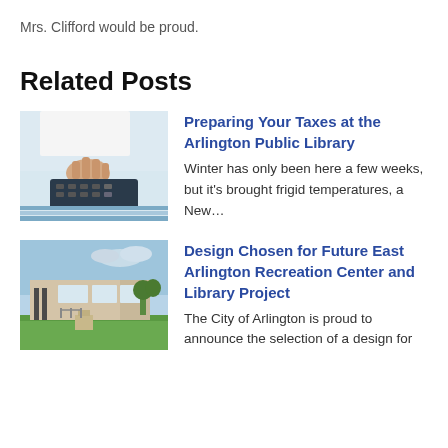Mrs. Clifford would be proud.
Related Posts
[Figure (photo): Person's hand using a calculator on a desk with papers and charts]
Preparing Your Taxes at the Arlington Public Library
Winter has only been here a few weeks, but it's brought frigid temperatures, a New…
[Figure (photo): Exterior view of a modern building with a walkway and green lawn]
Design Chosen for Future East Arlington Recreation Center and Library Project
The City of Arlington is proud to announce the selection of a design for